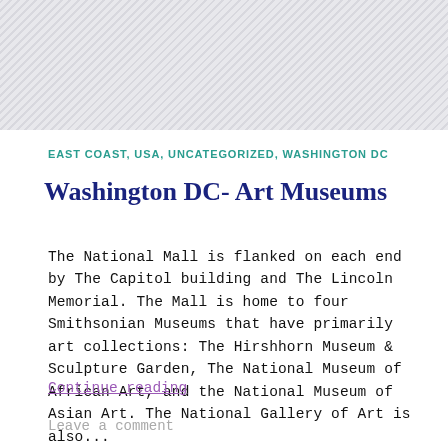[Figure (other): Hatched/crosshatched grey background area at top of page]
EAST COAST, USA, UNCATEGORIZED, WASHINGTON DC
Washington DC- Art Museums
The National Mall is flanked on each end by The Capitol building and The Lincoln Memorial. The Mall is home to four Smithsonian Museums that have primarily art collections: The Hirshhorn Museum & Sculpture Garden, The National Museum of African Art, and the National Museum of Asian Art. The National Gallery of Art is also...
Continue reading
Leave a comment